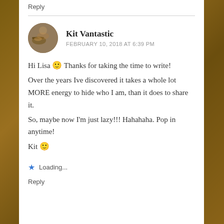Reply
Kit Vantastic
FEBRUARY 10, 2018 AT 6:39 PM
Hi Lisa 🙂 Thanks for taking the time to write!
Over the years Ive discovered it takes a whole lot MORE energy to hide who I am, than it does to share it.
So, maybe now I'm just lazy!!! Hahahaha.
Pop in anytime!
Kit 🙂
Loading...
Reply